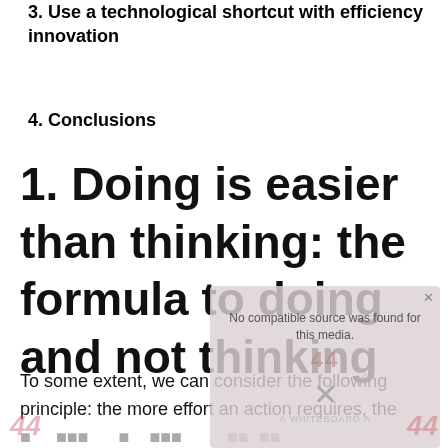3. Use a technological shortcut with efficiency innovation
4. Conclusions
1. Doing is easier than thinking: the formula to doing and not thinking
To some extent, we can consider the following principle: the more effort an action requires, the less likely it is to be performed.
[Figure (screenshot): Video player overlay showing 'No compatible source was found for this media' message with watermark and branding]